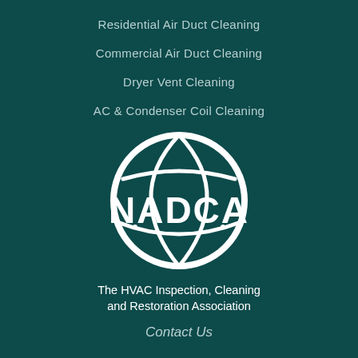Residential Air Duct Cleaning
Commercial Air Duct Cleaning
Dryer Vent Cleaning
AC & Condenser Coil Cleaning
[Figure (logo): NADCA globe logo with the text NADCA in bold white letters overlaid on a globe graphic]
The HVAC Inspection, Cleaning and Restoration Association
Contact Us